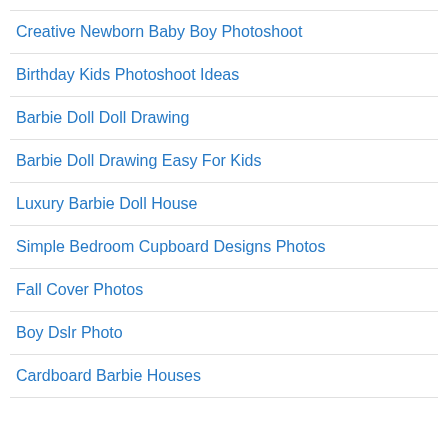Creative Newborn Baby Boy Photoshoot
Birthday Kids Photoshoot Ideas
Barbie Doll Doll Drawing
Barbie Doll Drawing Easy For Kids
Luxury Barbie Doll House
Simple Bedroom Cupboard Designs Photos
Fall Cover Photos
Boy Dslr Photo
Cardboard Barbie Houses
DMCA / Copyright / Privacy Policy / Contact © 2018 Ranbox. All Rights Reserved.